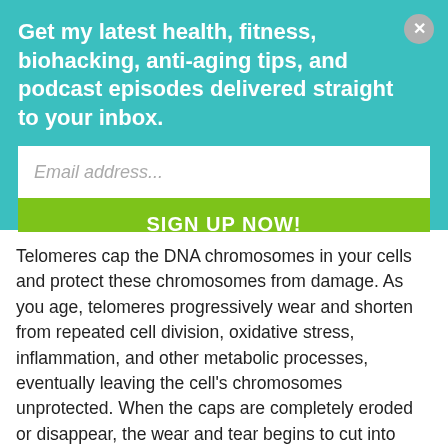Get my latest health, fitness, biohacking, anti-aging tips, and podcast episodes delivered straight to your inbox.
Email address...
SIGN UP NOW!
Telomeres cap the DNA chromosomes in your cells and protect these chromosomes from damage. As you age, telomeres progressively wear and shorten from repeated cell division, oxidative stress, inflammation, and other metabolic processes, eventually leaving the cell's chromosomes unprotected. When the caps are completely eroded or disappear, the wear and tear begins to cut into your genes, causing cells to become damaged and discarded as you grow older.